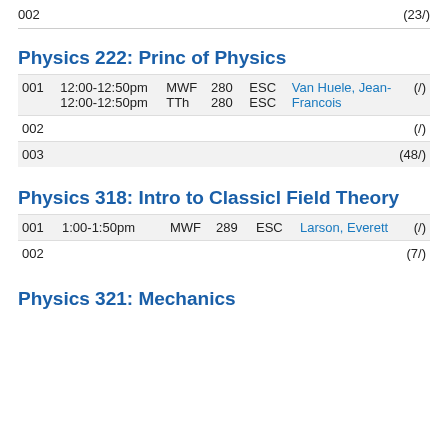002	(23/)
Physics 222: Princ of Physics
| Section | Time | Days | Cap | Bldg | Instructor | Enrollment |
| --- | --- | --- | --- | --- | --- | --- |
| 001 | 12:00-12:50pm | MWF | 280 | ESC | Van Huele, Jean-Francois | (/) |
|  | 12:00-12:50pm | TTh | 280 | ESC |  |  |
| 002 |  |  |  |  |  | (/) |
| 003 |  |  |  |  |  | (48/) |
Physics 318: Intro to Classicl Field Theory
| Section | Time | Days | Cap | Bldg | Instructor | Enrollment |
| --- | --- | --- | --- | --- | --- | --- |
| 001 | 1:00-1:50pm | MWF | 289 | ESC | Larson, Everett | (/) |
| 002 |  |  |  |  |  | (7/) |
Physics 321: Mechanics